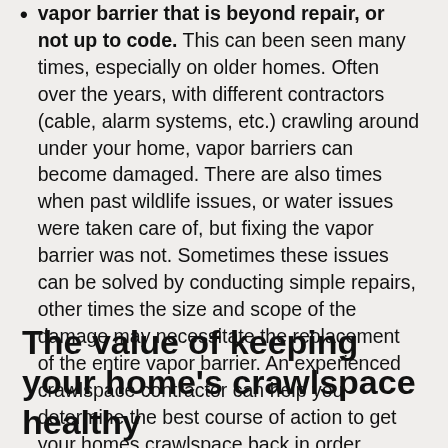vapor barrier that is beyond repair, or not up to code. This can been seen many times, especially on older homes. Often over the years, with different contractors (cable, alarm systems, etc.) crawling around under your home, vapor barriers can become damaged. There are also times when past wildlife issues, or water issues were taken care of, but fixing the vapor barrier was not. Sometimes these issues can be solved by conducting simple repairs, other times the size and scope of the damage may necessitate the replacement of the entire vapor barrier. An experienced crawlspace contractor can help you determine the best course of action to get your homes crawlspace back in order.
The value of keeping your home's crawlspace healthy